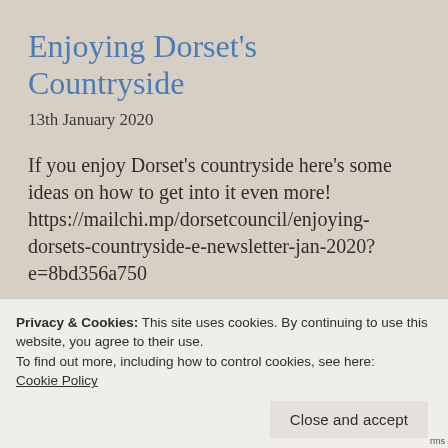Enjoying Dorset's Countryside
13th January 2020
If you enjoy Dorset's countryside here's some ideas on how to get into it even more! https://mailchi.mp/dorsetcouncil/enjoying-dorsets-countryside-e-newsletter-jan-2020?e=8bd356a750
Privacy & Cookies: This site uses cookies. By continuing to use this website, you agree to their use.
To find out more, including how to control cookies, see here:
Cookie Policy
Close and accept